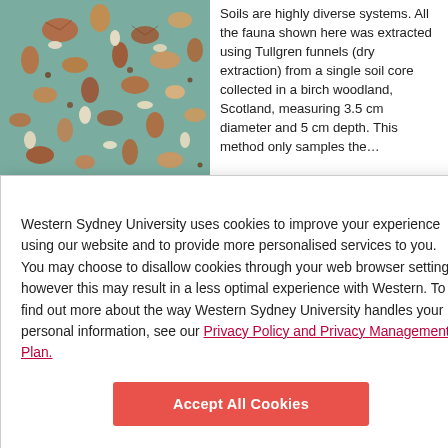[Figure (photo): Close-up photo of soil fauna — numerous small arthropods, mites, and insects on a teal/grey surface]
Soils are highly diverse systems. All the fauna shown here was extracted using Tullgren funnels (dry extraction) from a single soil core collected in a birch woodland, Scotland, measuring 3.5 cm diameter and 5 cm depth. This method only samples the…
Western Sydney University uses cookies to improve your experience using our website and to provide more personalised services to you. You may choose to disallow cookies through your web browser settings, however this may result in a less optimal experience with Western. To find out more about the way Western Sydney University handles your personal information, see our Privacy Policy and Privacy Management Plan.
Accept All Cookies